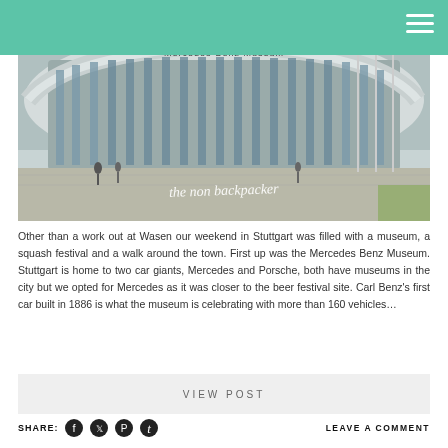[Figure (photo): Exterior photo of the Mercedes-Benz Museum building in Stuttgart, a modern curved glass and concrete structure, with people walking in front. The text 'Mercedes-Benz Museum' is visible on the building facade. A watermark reads 'the non backpacker' in cursive script at the bottom of the image.]
Other than a work out at Wasen our weekend in Stuttgart was filled with a museum, a squash festival and a walk around the town. First up was the Mercedes Benz Museum. Stuttgart is home to two car giants, Mercedes and Porsche, both have museums in the city but we opted for Mercedes as it was closer to the beer festival site. Carl Benz's first car built in 1886 is what the museum is celebrating with more than 160 vehicles…
VIEW POST
SHARE:
LEAVE A COMMENT